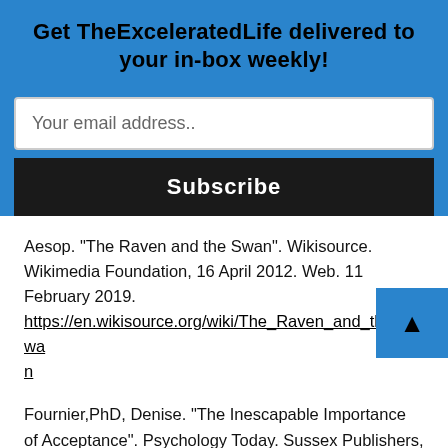Get TheExceleratedLife delivered to your in-box weekly!
Your email address..
Subscribe
Aesop. “The Raven and the Swan”. Wikisource. Wikimedia Foundation, 16 April 2012. Web. 11 February 2019. https://en.wikisource.org/wiki/The_Raven_and_the_Swan
Fournier,PhD, Denise. “The Inescapable Importance of Acceptance”. Psychology Today. Sussex Publishers, LLC, 27 November 2017. Web. 9 February 2019. https://www.psychologytoday.com/us/blog/mindfully-present-fully-alive/201711/the-inescapable-importance-acceptance